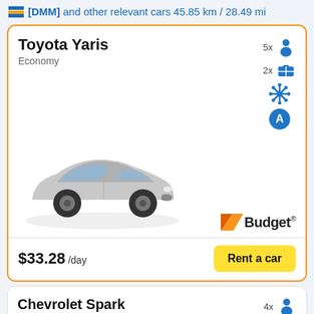[DMM] and other relevant cars 45.85 km / 28.49 mi
Toyota Yaris
Economy
[Figure (photo): Toyota Yaris silver/grey hatchback car, side-front view]
5x passengers, 2x luggage, air conditioning (snowflake icon), automatic (A)
[Figure (logo): Budget car rental logo]
$33.28 /day
Rent a car
Chevrolet Spark
4x passengers